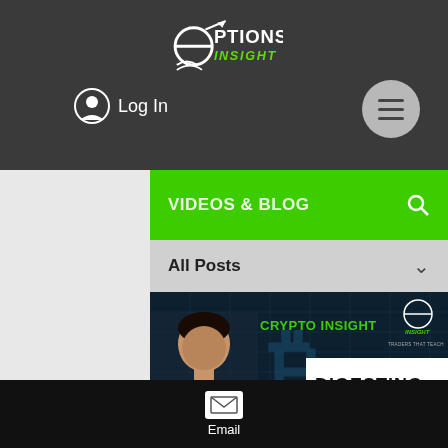[Figure (logo): Options Insight logo with arrow and chart lines on dark background]
Log In
[Figure (screenshot): Website navigation bar with hamburger menu button]
VIDEOS & BLOG
All Posts
[Figure (photo): Crypto Insight blog post thumbnail showing a man in white shirt with Bitcoin symbol and text 'DIGESTING THE FLASH CRASH']
Email